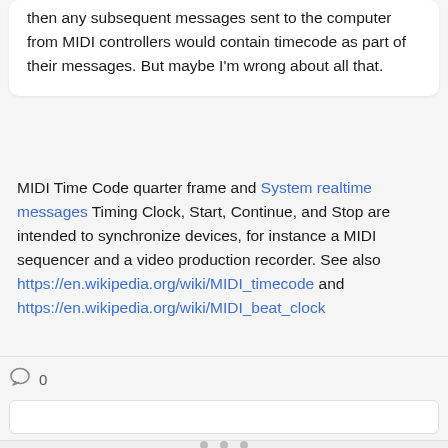then any subsequent messages sent to the computer from MIDI controllers would contain timecode as part of their messages. But maybe I'm wrong about all that.
MIDI Time Code quarter frame and System realtime messages Timing Clock, Start, Continue, and Stop are intended to synchronize devices, for instance a MIDI sequencer and a video production recorder. See also https://en.wikipedia.org/wiki/MIDI_timecode and https://en.wikipedia.org/wiki/MIDI_beat_clock